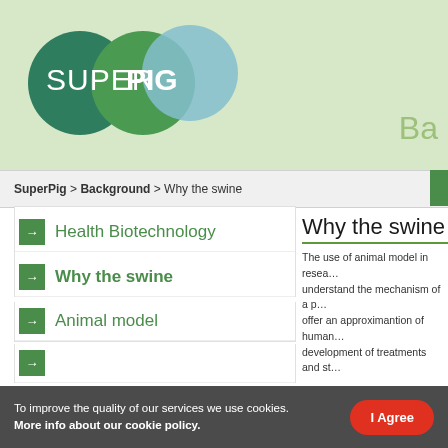[Figure (logo): SuperPig logo with three overlapping circles (dark green, medium green, light blue) and white text SUPERPIG on a light green banner background]
Ba
SuperPig > Background > Why the swine
Health Biotechnology
Why the swine
Animal model
Why the swine
The use of animal model in research to understand the mechanism of a p... offer an approximantion of human... development of treatments and st...
The Superpig program uses pig a... for its physiological characteristics... after primates (monkeys). Having... between human and mouse is be...
To improve the quality of our services we use cookies. More info about our cookie policy.
I Agree